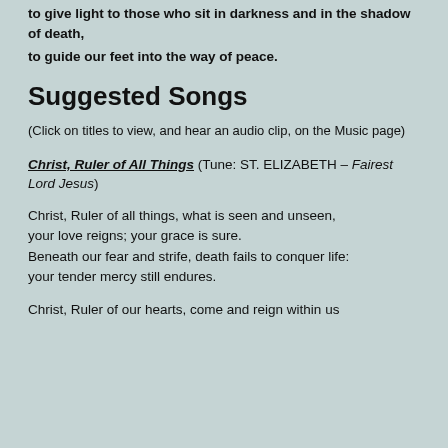to give light to those who sit in darkness and in the shadow of death,
to guide our feet into the way of peace.
Suggested Songs
(Click on titles to view, and hear an audio clip, on the Music page)
Christ, Ruler of All Things (Tune: ST. ELIZABETH – Fairest Lord Jesus)
Christ, Ruler of all things, what is seen and unseen,
your love reigns; your grace is sure.
Beneath our fear and strife, death fails to conquer life:
your tender mercy still endures.
Christ, Ruler of our hearts, come and reign within us